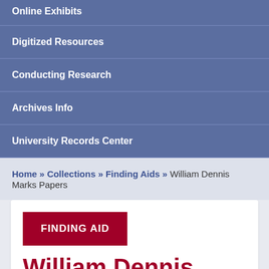Online Exhibits
Digitized Resources
Conducting Research
Archives Info
University Records Center
Home » Collections » Finding Aids » William Dennis Marks Papers
FINDING AID
William Dennis